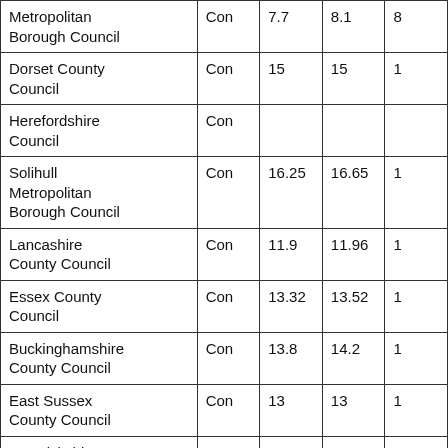| Metropolitan Borough Council | Con | 7.7 | 8.1 | 8… |
| Dorset County Council | Con | 15 | 15 | 1… |
| Herefordshire Council | Con |  |  |  |
| Solihull Metropolitan Borough Council | Con | 16.25 | 16.65 | 1… |
| Lancashire County Council | Con | 11.9 | 11.96 | 1… |
| Essex County Council | Con | 13.32 | 13.52 | 1… |
| Buckinghamshire County Council | Con | 13.8 | 14.2 | 1… |
| East Sussex County Council | Con | 13 | 13 | 1… |
| Warwickshire | Con | 9.22 | 11.26 | 1… |